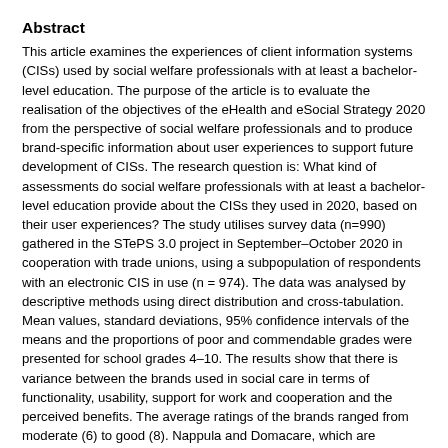Abstract
This article examines the experiences of client information systems (CISs) used by social welfare professionals with at least a bachelor-level education. The purpose of the article is to evaluate the realisation of the objectives of the eHealth and eSocial Strategy 2020 from the perspective of social welfare professionals and to produce brand-specific information about user experiences to support future development of CISs. The research question is: What kind of assessments do social welfare professionals with at least a bachelor-level education provide about the CISs they used in 2020, based on their user experiences? The study utilises survey data (n=990) gathered in the STePS 3.0 project in September–October 2020 in cooperation with trade unions, using a subpopulation of respondents with an electronic CIS in use (n = 974). The data was analysed by descriptive methods using direct distribution and cross-tabulation. Mean values, standard deviations, 95% confidence intervals of the means and the proportions of poor and commendable grades were presented for school grades 4–10. The results show that there is variance between the brands used in social care in terms of functionality, usability, support for work and cooperation and the perceived benefits. The average ratings of the brands ranged from moderate (6) to good (8). Nappula and Domacare, which are generally used in the limited social care settings, received the best ratings. Of the CISs widely used in social welfare, Pro Consona received the best rating (satisfactory). Designing and adapting CISs to the needs of a smaller and more limited user groups are naturally more straightforward, and users